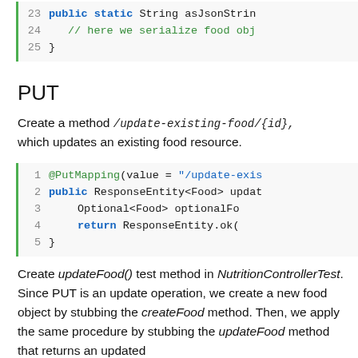[Figure (screenshot): Code snippet lines 23-25 showing public static String asJsonString method stub with a comment 'here we serialize food obj' and closing brace]
PUT
Create a method /update-existing-food/{id}, which updates an existing food resource.
[Figure (screenshot): Code snippet lines 1-5 showing @PutMapping annotation with value '/update-exis...', public ResponseEntity<Food> updat..., Optional<Food> optionalFo..., return ResponseEntity.ok(...), and closing brace]
Create updateFood() test method in NutritionControllerTest. Since PUT is an update operation, we create a new food object by stubbing the createFood method. Then, we apply the same procedure by stubbing the updateFood method that returns an updated